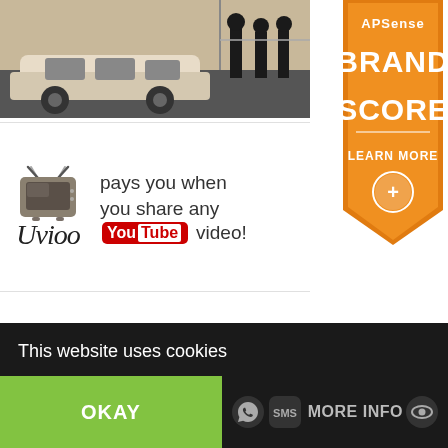[Figure (photo): Dark photo strip showing silhouettes of people standing near a light-colored car]
[Figure (illustration): APSense Brand Score badge in orange with text APSense, BRAND SCORE, LEARN MORE and a plus icon]
[Figure (illustration): Uvioo advertisement banner: Uvioo logo with TV icon, tagline pays you when you share any YouTube video!]
MINE LITECOIN FREE
This website uses cookies
OKAY
MORE INFO